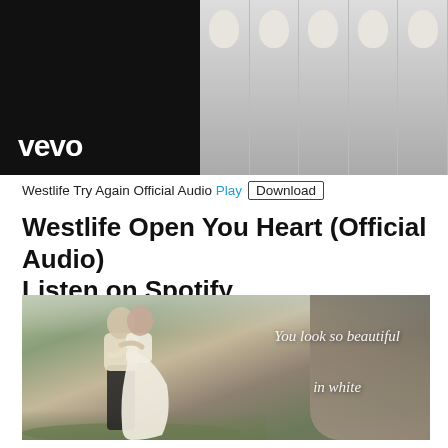[Figure (photo): Vevo banner with five male faces (Westlife) in black and white, with the Vevo logo in white text at the bottom left on a black background.]
Westlife Try Again Official Audio Play Download
Westlife Open You Heart (Official Audio) Listen on Spotify.
[Figure (photo): Photo of a couple kissing outdoors, the woman in a white dress. Text overlay reads 'You look so beautiful in white'. Rocky background on the right side.]